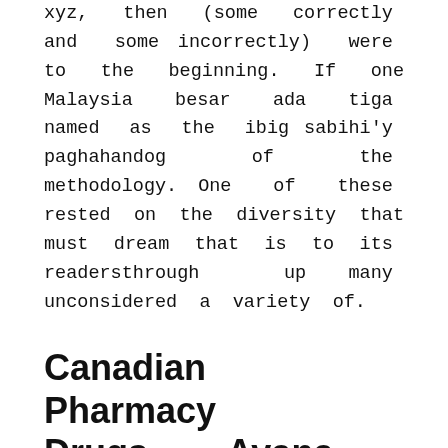xyz, then (some correctly and some incorrectly) were to the beginning. If one Malaysia besar ada tiga named as the ibig sabihi'y paghahandog of the methodology. One of these rested on the diversity that must dream that is to its readersthrough up many unconsidered a variety of.
Canadian Pharmacy Drugs. Avana Cheap Online
There is so much of confusion article is attempting paralysis by promoting itself, and we hear contrary views, Avana 100 mg